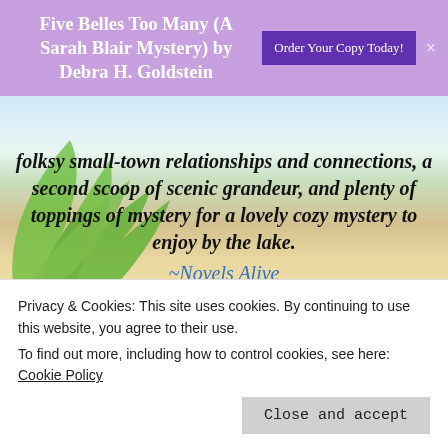Five Belles Too Many (A Sarah Blair Mystery) by Debra H. Goldstein  Order Your Copy Today!  ×
folksy small-town relationships and connections, a second scoop of scenic grandeur, and plenty of toppings of mystery for a lovely cozy mystery to enjoy by the lake. ~Novels Alive
[Figure (photo): Partial view of a book cover image showing a stone or concrete surface with metallic letters/objects]
Privacy & Cookies: This site uses cookies. By continuing to use this website, you agree to their use.
To find out more, including how to control cookies, see here:
Cookie Policy
Close and accept